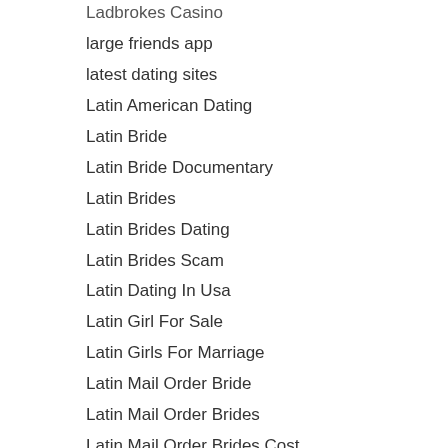Ladbrokes Casino
large friends app
latest dating sites
Latin American Dating
Latin Bride
Latin Bride Documentary
Latin Brides
Latin Brides Dating
Latin Brides Scam
Latin Dating In Usa
Latin Girl For Sale
Latin Girls For Marriage
Latin Mail Order Bride
Latin Mail Order Brides
Latin Mail Order Brides Cost
Latin Mail Order Wives